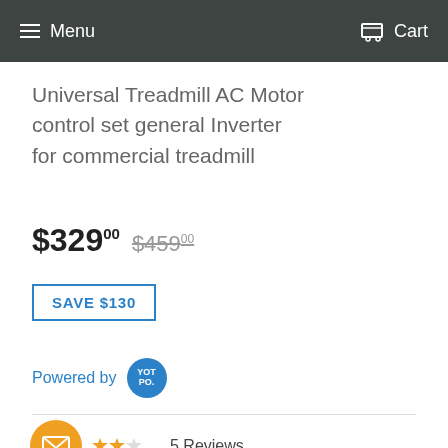Menu   Cart
Universal Treadmill AC Motor control set general Inverter for commercial treadmill
$329°⁰  $459°⁰
SAVE $130
Powered by YOTPO.
5 Reviews